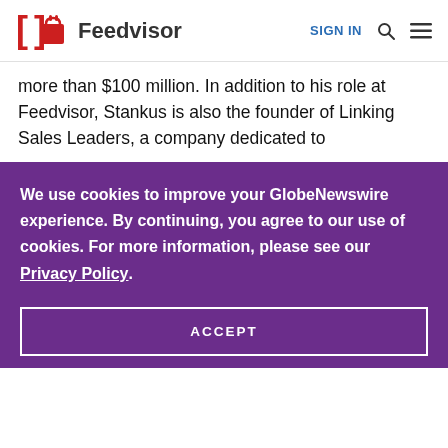Feedvisor | SIGN IN
more than $100 million. In addition to his role at Feedvisor, Stankus is also the founder of Linking Sales Leaders, a company dedicated to
We use cookies to improve your GlobeNewswire experience. By continuing, you agree to our use of cookies. For more information, please see our Privacy Policy.
ACCEPT